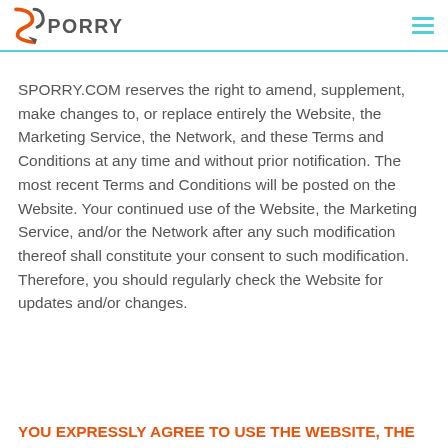SPORRY
SPORRY.COM reserves the right to amend, supplement, make changes to, or replace entirely the Website, the Marketing Service, the Network, and these Terms and Conditions at any time and without prior notification. The most recent Terms and Conditions will be posted on the Website. Your continued use of the Website, the Marketing Service, and/or the Network after any such modification thereof shall constitute your consent to such modification. Therefore, you should regularly check the Website for updates and/or changes.
YOU EXPRESSLY AGREE TO USE THE WEBSITE, THE